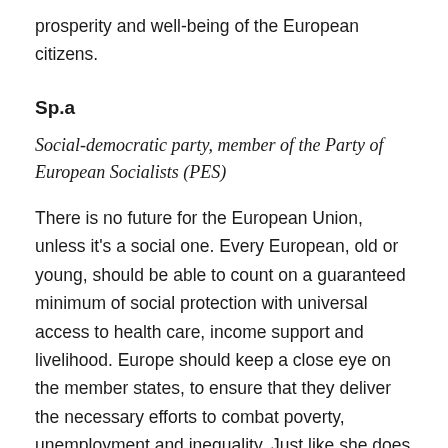prosperity and well-being of the European citizens.
Sp.a
Social-democratic party, member of the Party of European Socialists (PES)
There is no future for the European Union, unless it's a social one. Every European, old or young, should be able to count on a guaranteed minimum of social protection with universal access to health care, income support and livelihood. Europe should keep a close eye on the member states, to ensure that they deliver the necessary efforts to combat poverty, unemployment and inequality. Just like she does for the budgets of her member states.
Europe must stimulate more sustainable and efficient care.